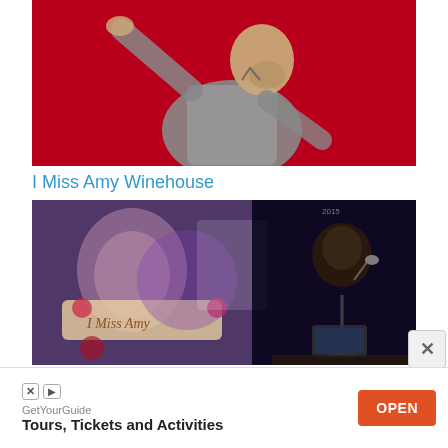[Figure (photo): A bald man in a grey shirt leaning/dancing against a red background, photographed at an angle]
I Miss Amy Winehouse
[Figure (photo): A collage/event image showing 'I Miss Amy' banner with roses artwork and a performer singing into a microphone on the right side against a dark background]
[Figure (other): Advertisement banner: GetYourGuide - Tours, Tickets and Activities - OPEN button]
GetYourGuide
Tours, Tickets and Activities
OPEN